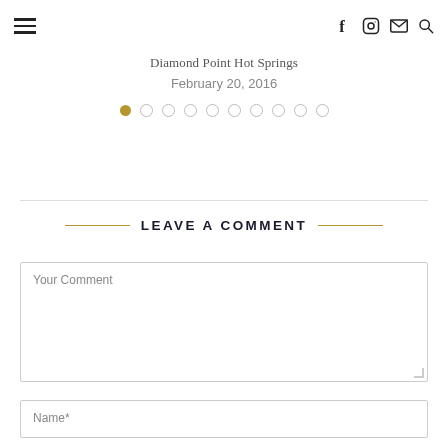☰  f  Instagram  Mail  Search
Diamond Point Hot Springs
February 20, 2016
[Figure (other): Pagination dots — 10 circles, first one filled gold, rest empty]
LEAVE A COMMENT
Your Comment
Name*